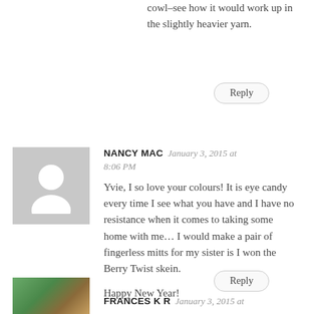cowl–see how it would work up in the slightly heavier yarn.
Reply
NANCY MAC  January 3, 2015 at 8:06 PM
[Figure (illustration): Default avatar placeholder icon — grey square with white silhouette of a person]
Yvie, I so love your colours! It is eye candy every time I see what you have and I have no resistance when it comes to taking some home with me… I would make a pair of fingerless mitts for my sister is I won the Berry Twist skein.

Happy New Year!
Reply
FRANCES K R  January 3, 2015 at